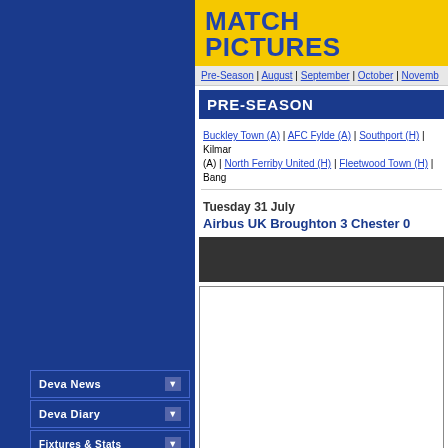MATCH PICTURES
Pre-Season | August | September | October | Novemb...
PRE-SEASON
Buckley Town (A) | AFC Fylde (A) | Southport (H) | Kilmar... (A) | North Ferriby United (H) | Fleetwood Town (H) | Bang...
Tuesday 31 July
Airbus UK Broughton 3 Chester 0
[Figure (photo): Dark placeholder bar for match photo]
[Figure (photo): White photo/image box]
Deva News
Deva Diary
Fixtures & Stats
Match Reports
Deva Stadium
Players
Supporters
Club History
Interactive